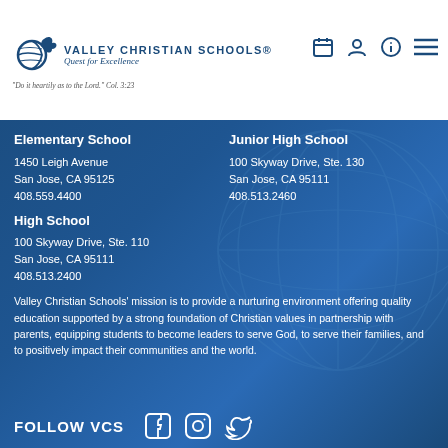Valley Christian Schools® Quest for Excellence — "Do it heartily as to the Lord." Col. 3:23
Elementary School
1450 Leigh Avenue
San Jose, CA 95125
408.559.4400
Junior High School
100 Skyway Drive, Ste. 130
San Jose, CA 95111
408.513.2460
High School
100 Skyway Drive, Ste. 110
San Jose, CA 95111
408.513.2400
Valley Christian Schools' mission is to provide a nurturing environment offering quality education supported by a strong foundation of Christian values in partnership with parents, equipping students to become leaders to serve God, to serve their families, and to positively impact their communities and the world.
FOLLOW VCS